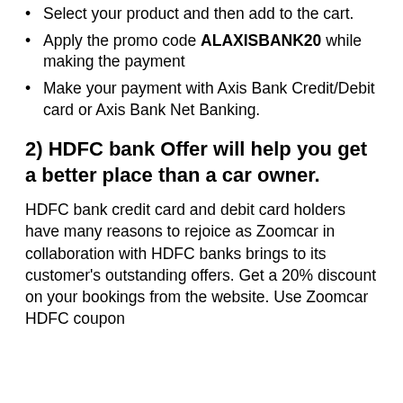Select your product and then add to the cart.
Apply the promo code ALAXISBANK20 while making the payment
Make your payment with Axis Bank Credit/Debit card or Axis Bank Net Banking.
2) HDFC bank Offer will help you get a better place than a car owner.
HDFC bank credit card and debit card holders have many reasons to rejoice as Zoomcar in collaboration with HDFC banks brings to its customer's outstanding offers. Get a 20% discount on your bookings from the website. Use Zoomcar HDFC coupon